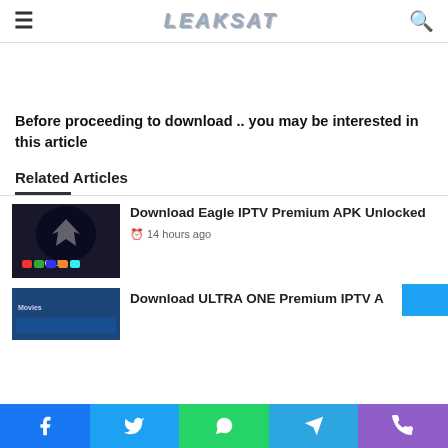LEAKSAT
Before proceeding to download .. you may be interested in this article
Related Articles
[Figure (screenshot): Eagle IPTV app thumbnail showing dark background with eagle logo and Spiderman imagery]
Download Eagle IPTV Premium APK Unlocked
14 hours ago
[Figure (screenshot): ULTRA ONE Premium IPTV app thumbnail, partially visible, blue background]
Download ULTRA ONE Premium IPTV A…